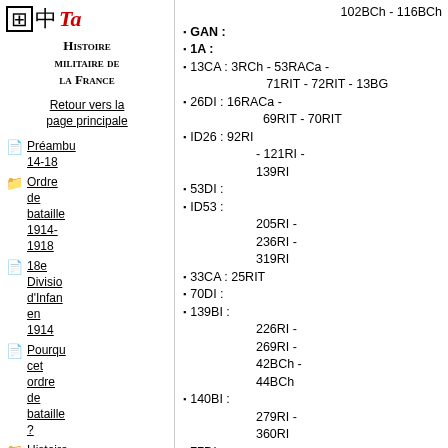[Figure (logo): Logo with grid character, kanji character, and stylized red 'T' letter]
Histoire militaire de la France
Retour vers la page principale
Préambu 14-18
Ordre de bataille 1914-1918
18e Division d'Infan en 1914
Pourqu cet ordre de bataille ?
Histoire des...
102BCh - 116BCh
GAN :
1A :
13CA : 3RCh - 53RACa - 71RIT - 72RIT - 13BG
26DI : 16RACa - 69RIT - 70RIT
ID26 : 92RI - 121RI - 139RI
53DI :
ID53 : 205RI - 236RI - 319RI
33CA : 25RIT
70DI :
139BI : 226RI - 269RI - 42BCh - 44BCh
140BI : 279RI - 360RI
77DI :
88BI : 97RI - 17BCh -